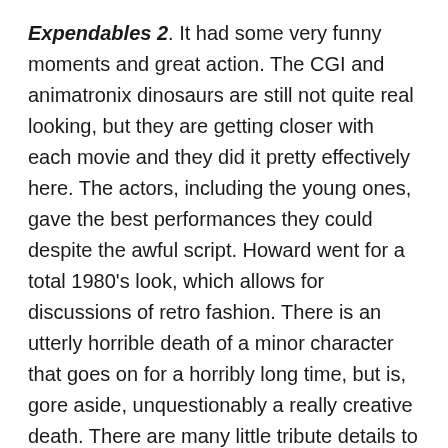Expendables 2. It had some very funny moments and great action. The CGI and animatronix dinosaurs are still not quite real looking, but they are getting closer with each movie and they did it pretty effectively here. The actors, including the young ones, gave the best performances they could despite the awful script. Howard went for a total 1980's look, which allows for discussions of retro fashion. There is an utterly horrible death of a minor character that goes on for a horribly long time, but is, gore aside, unquestionably a really creative death. There are many little tribute details to the first Jurassic Park movie, which reminds you that Jurassic Park, for its occasional faults, was a way better movie. And the movie did make me desperately want a robot raptor doll.
And Jake Johnson is in the movie and almost manages to